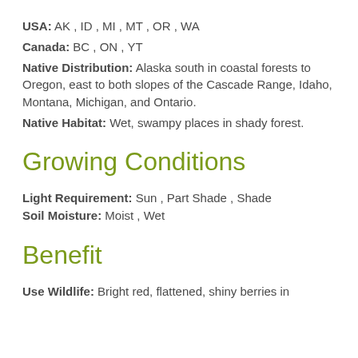USA: AK , ID , MI , MT , OR , WA
Canada: BC , ON , YT
Native Distribution: Alaska south in coastal forests to Oregon, east to both slopes of the Cascade Range, Idaho, Montana, Michigan, and Ontario.
Native Habitat: Wet, swampy places in shady forest.
Growing Conditions
Light Requirement: Sun , Part Shade , Shade
Soil Moisture: Moist , Wet
Benefit
Use Wildlife: Bright red, flattened, shiny berries in